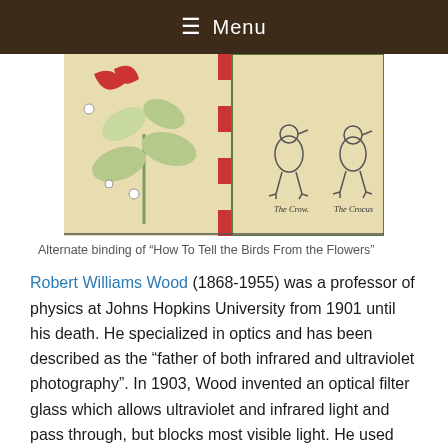☰ Menu
[Figure (photo): Alternate binding of a book showing illustrated pages with birds labeled 'The Crow' and 'The Crocus', and a plant illustration on the left page.]
Alternate binding of "How To Tell the Birds From the Flowers"
Robert Williams Wood (1868-1955) was a professor of physics at Johns Hopkins University from 1901 until his death. He specialized in optics and has been described as the "father of both infrared and ultraviolet photography". In 1903, Wood invented an optical filter glass which allows ultraviolet and infrared light and pass through, but blocks most visible light. He used this special glass to make a device called a "Wood's lamp."